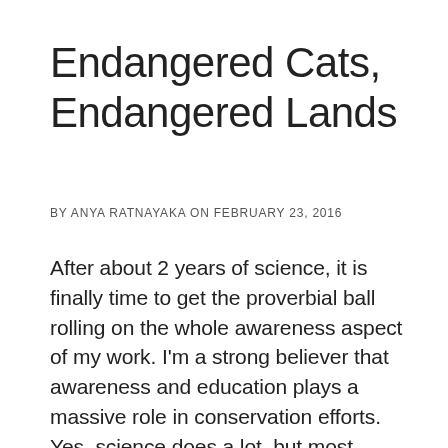Endangered Cats, Endangered Lands
BY ANYA RATNAYAKA ON FEBRUARY 23, 2016
After about 2 years of science, it is finally time to get the proverbial ball rolling on the whole awareness aspect of my work. I'm a strong believer that awareness and education plays a massive role in conservation efforts. Yes, science does a lot, but most people aren't scientists. Have you tried reading a journal article? They are really technical and unless you know the background, can be quite daunting. So how could I expect someone from a non-science background to read the science stuff? But awareness...